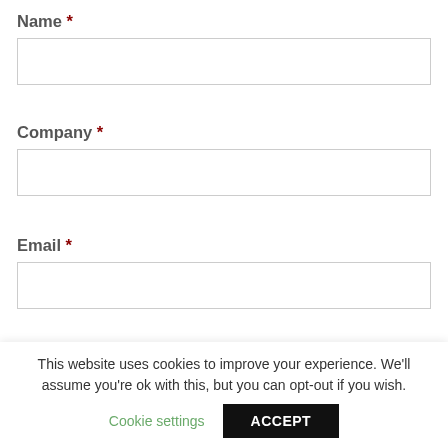Name *
Company *
Email *
Phone *
This website uses cookies to improve your experience. We'll assume you're ok with this, but you can opt-out if you wish.
Cookie settings
ACCEPT